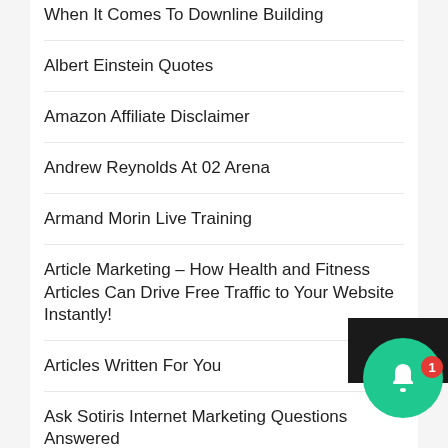When It Comes To Downline Building
Albert Einstein Quotes
Amazon Affiliate Disclaimer
Andrew Reynolds At 02 Arena
Armand Morin Live Training
Article Marketing – How Health and Fitness Articles Can Drive Free Traffic to Your Website Instantly!
Articles Written For You
Ask Sotiris Internet Marketing Questions Answered
Ask Sotiris Your Question